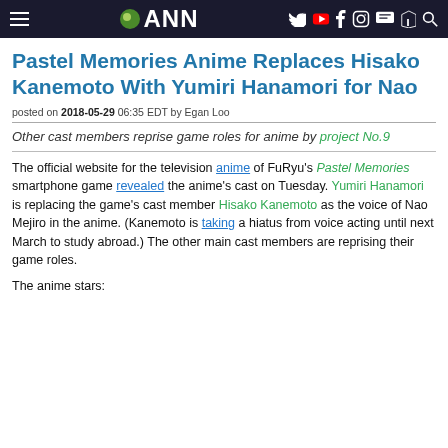ANN navigation header with hamburger menu, ANN logo, and social icons
Pastel Memories Anime Replaces Hisako Kanemoto With Yumiri Hanamori for Nao
posted on 2018-05-29 06:35 EDT by Egan Loo
Other cast members reprise game roles for anime by project No.9
The official website for the television anime of FuRyu's Pastel Memories smartphone game revealed the anime's cast on Tuesday. Yumiri Hanamori is replacing the game's cast member Hisako Kanemoto as the voice of Nao Mejiro in the anime. (Kanemoto is taking a hiatus from voice acting until next March to study abroad.) The other main cast members are reprising their game roles.
The anime stars: